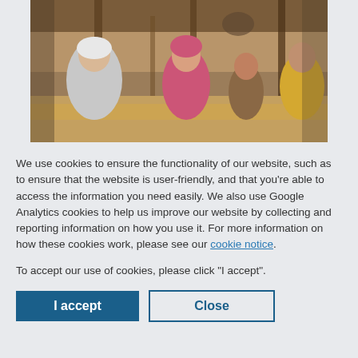[Figure (photo): Group of women and children sitting inside a rustic structure with wooden poles, one woman wearing a white hijab, another in pink clothing, in what appears to be an African rural setting.]
We use cookies to ensure the functionality of our website, such as to ensure that the website is user-friendly, and that you're able to access the information you need easily. We also use Google Analytics cookies to help us improve our website by collecting and reporting information on how you use it. For more information on how these cookies work, please see our cookie notice.
To accept our use of cookies, please click "I accept".
I accept
Close